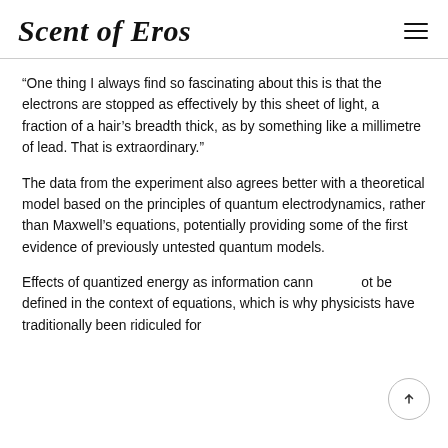Scent of Eros
“One thing I always find so fascinating about this is that the electrons are stopped as effectively by this sheet of light, a fraction of a hair’s breadth thick, as by something like a millimetre of lead. That is extraordinary.”
The data from the experiment also agrees better with a theoretical model based on the principles of quantum electrodynamics, rather than Maxwell’s equations, potentially providing some of the first evidence of previously untested quantum models.
Effects of quantized energy as information cannot be defined in the context of equations, which is why physicists have traditionally been ridiculed for